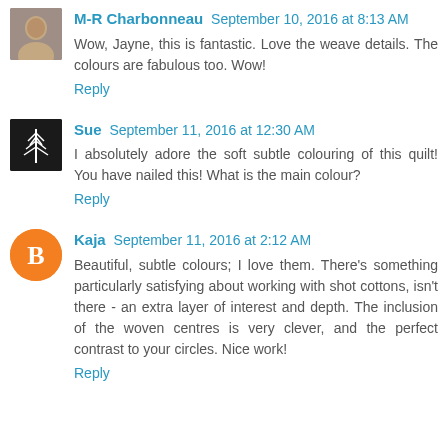M-R Charbonneau September 10, 2016 at 8:13 AM
Wow, Jayne, this is fantastic. Love the weave details. The colours are fabulous too. Wow!
Reply
Sue September 11, 2016 at 12:30 AM
I absolutely adore the soft subtle colouring of this quilt! You have nailed this! What is the main colour?
Reply
Kaja September 11, 2016 at 2:12 AM
Beautiful, subtle colours; I love them. There's something particularly satisfying about working with shot cottons, isn't there - an extra layer of interest and depth. The inclusion of the woven centres is very clever, and the perfect contrast to your circles. Nice work!
Reply